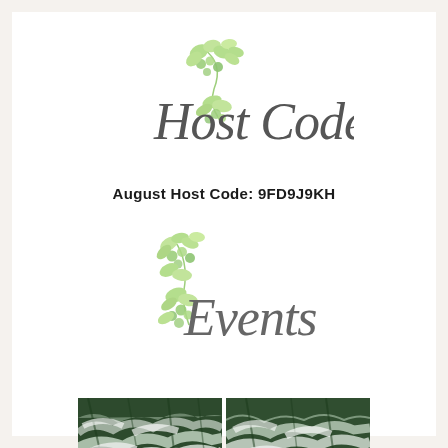[Figure (illustration): Decorative 'Host Code' script text with green botanical leaf/berry illustration overlay]
August Host Code: 9FD9J9KH
[Figure (illustration): Decorative 'Events' script text with green botanical leaf/berry illustration overlay]
[Figure (photo): Two side-by-side photos of snow-covered pine/evergreen tree branches]